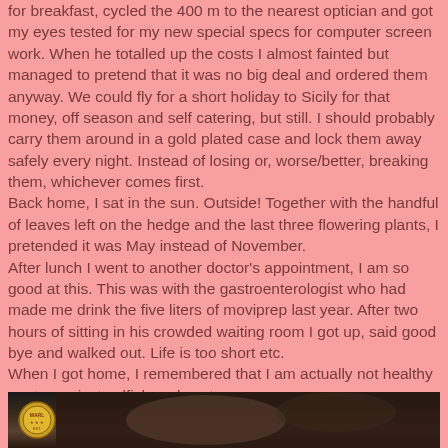for breakfast, cycled the 400 m to the nearest optician and got my eyes tested for my new special specs for computer screen work. When he totalled up the costs I almost fainted but managed to pretend that it was no big deal and ordered them anyway. We could fly for a short holiday to Sicily for that money, off season and self catering, but still. I should probably carry them around in a gold plated case and lock them away safely every night. Instead of losing or, worse/better, breaking them, whichever comes first.
Back home, I sat in the sun. Outside! Together with the handful of leaves left on the hedge and the last three flowering plants, I pretended it was May instead of November.
After lunch I went to another doctor's appointment, I am so good at this. This was with the gastroenterologist who had made me drink the five liters of moviprep last year. After two hours of sitting in his crowded waiting room I got up, said good bye and walked out. Life is too short etc.
When I got home, I remembered that I am actually not healthy or strong, just selfish and nasty.
[Figure (photo): A dark photograph showing a person, with a circular badge/logo on the left side. The image appears to be cropped at the bottom of the page.]